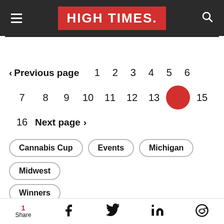HIGH TIMES
< Previous page  1  2  3  4  5  6
7  8  9  10  11  12  13  [14 current]  15
16  Next page >
Cannabis Cup
Events
Michigan
Midwest
Winners
1 Share